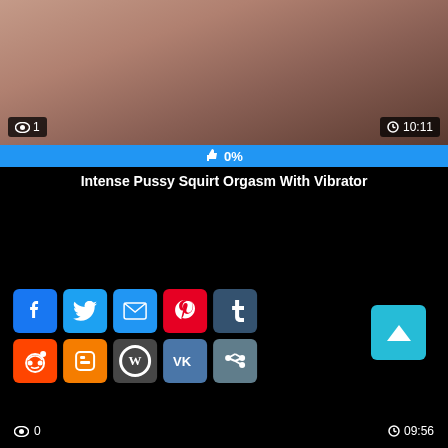[Figure (screenshot): Video thumbnail showing partial body image with view count badge showing 1 and duration badge showing 10:11]
👁 1  🕐10:11
👍 0%
Intense Pussy Squirt Orgasm With Vibrator
[Figure (infographic): Social sharing buttons: Facebook, Twitter, Email, Pinterest, Tumblr, Reddit, Blogger, WordPress, VK, Share. Scroll-to-top button in cyan.]
👁 0  🕐09:56